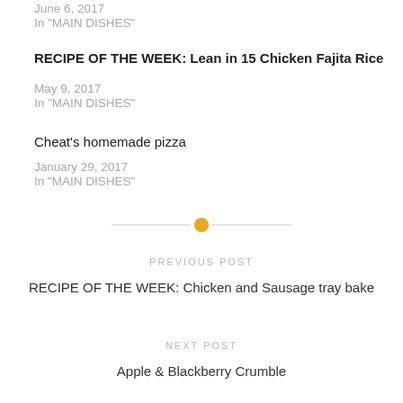June 6, 2017
In "MAIN DISHES"
RECIPE OF THE WEEK: Lean in 15 Chicken Fajita Rice
May 9, 2017
In "MAIN DISHES"
Cheat's homemade pizza
January 29, 2017
In "MAIN DISHES"
[Figure (other): Decorative divider with a horizontal line and a centered orange/gold dot]
PREVIOUS POST
RECIPE OF THE WEEK: Chicken and Sausage tray bake
NEXT POST
Apple & Blackberry Crumble